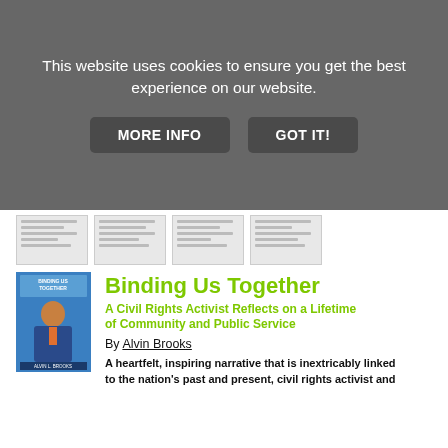This website uses cookies to ensure you get the best experience on our website.
MORE INFO
GOT IT!
[Figure (screenshot): Row of four small document page thumbnails showing text-heavy pages]
[Figure (photo): Book cover of 'Binding Us Together' by Alvin L. Brooks, showing a smiling man in a suit on a blue background]
Binding Us Together
A Civil Rights Activist Reflects on a Lifetime of Community and Public Service
By Alvin Brooks
A heartfelt, inspiring narrative that is inextricably linked to the nation's past and present, civil rights activist and